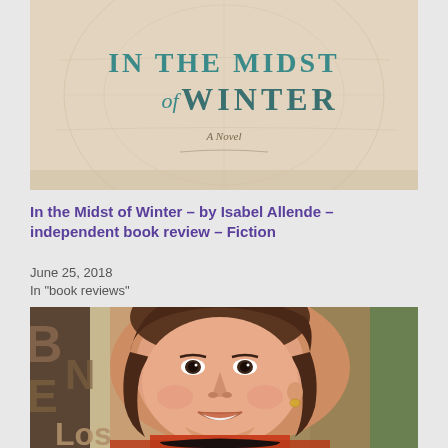[Figure (photo): Book cover of 'In the Midst of Winter' - a novel, showing title text on a map/aged paper background]
In the Midst of Winter – by Isabel Allende – independent book review – Fiction
June 25, 2018
In "book reviews"
[Figure (photo): Photo of Isabel Allende smiling, close-up portrait with partial letters B, N, E, LOS visible in background]